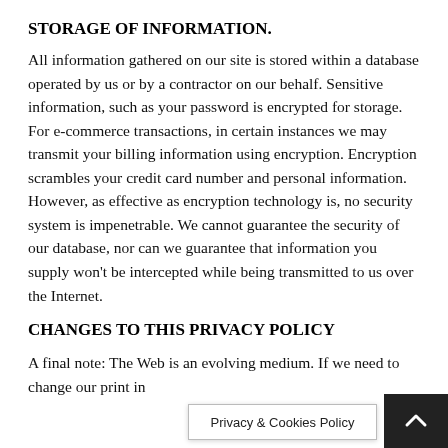STORAGE OF INFORMATION.
All information gathered on our site is stored within a database operated by us or by a contractor on our behalf. Sensitive information, such as your password is encrypted for storage. For e-commerce transactions, in certain instances we may transmit your billing information using encryption. Encryption scrambles your credit card number and personal information. However, as effective as encryption technology is, no security system is impenetrable. We cannot guarantee the security of our database, nor can we guarantee that information you supply won't be intercepted while being transmitted to us over the Internet.
CHANGES TO THIS PRIVACY POLICY
A final note: The Web is an evolving medium. If we need to change our pri... ...nt in